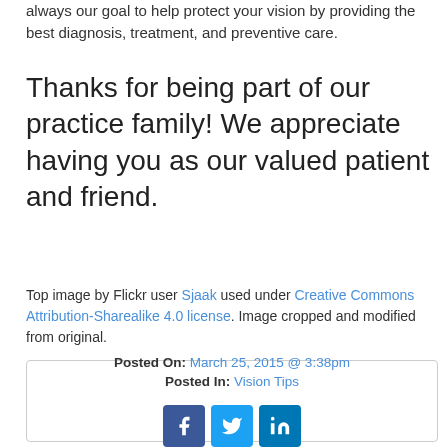always our goal to help protect your vision by providing the best diagnosis, treatment, and preventive care.
Thanks for being part of our practice family! We appreciate having you as our valued patient and friend.
Top image by Flickr user Sjaak used under Creative Commons Attribution-Sharealike 4.0 license. Image cropped and modified from original.
Posted On: March 25, 2015 @ 3:38pm
Posted In: Vision Tips